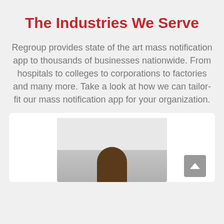The Industries We Serve
Regroup provides state of the art mass notification app to thousands of businesses nationwide. From hospitals to colleges to corporations to factories and many more. Take a look at how we can tailor-fit our mass notification app for your organization.
[Figure (photo): Photo of a person (young man) in a classroom setting with a whiteboard in the background, partially visible at the bottom of the page inside a white card.]